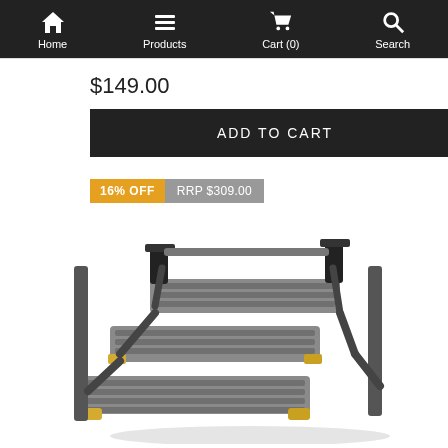Home | Products | Cart (0) | Search
$149.00
ADD TO CART
16% OFF  RRP $309.00
[Figure (photo): Product photo of a grey aluminum pull-out/extending caravan or RV step ladder with three steps and yellow rubber feet, shown at an angle]